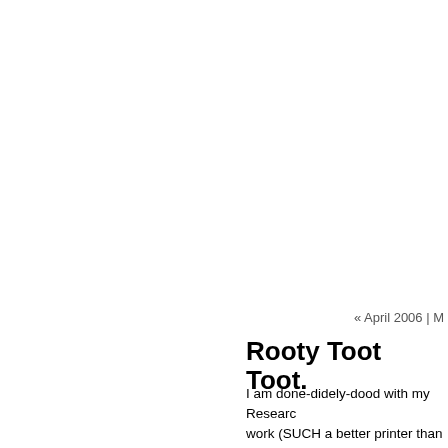« April 2006 | M
Rooty Toot Toot.
I am done-didely-dood with my Researc work (SUCH a better printer than the on for me and we're good to go! My eyeball finalized the content I just had to sit and computering, thinkin', and woodcutting!